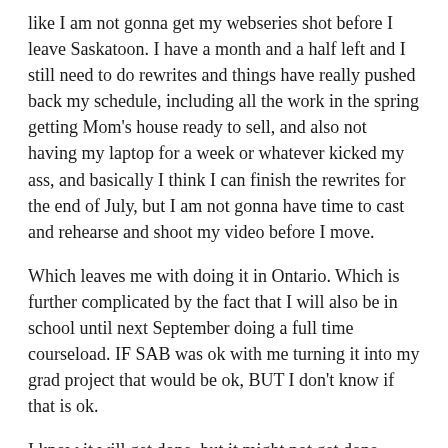like I am not gonna get my webseries shot before I leave Saskatoon.  I have a month and a half left and I still need to do rewrites and things have really pushed back my schedule, including all the work in the spring getting Mom's house ready to sell, and also not having my laptop for a week or whatever kicked my ass, and basically I think I can finish the rewrites for the end of July, but I am not gonna have time to cast and rehearse and shoot my video before I move.
Which leaves me with doing it in Ontario.  Which is further complicated by the fact that I will also be in school until next September doing a full time courseload.  IF SAB was ok with me turning it into my grad project that would be ok, BUT I don't know if that is ok.
I know it will get done, but it might not get done within the original time frame.  It might not even get done this year.  I'm pretty disappointed, but I also don't want to fuck it up by rushing it.